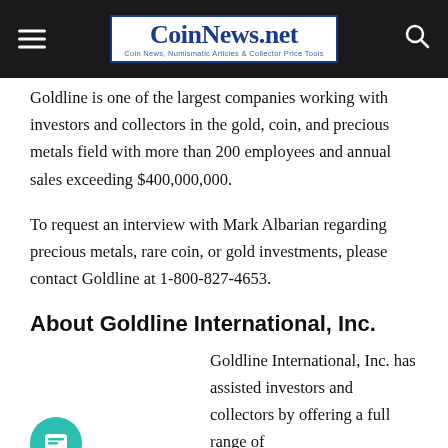CoinNews.net — Coin News, Numismatic Articles & Collector Price Tools
Goldline is one of the largest companies working with investors and collectors in the gold, coin, and precious metals field with more than 200 employees and annual sales exceeding $400,000,000.
To request an interview with Mark Albarian regarding precious metals, rare coin, or gold investments, please contact Goldline at 1-800-827-4653.
About Goldline International, Inc.
Goldline International, Inc. has assisted investors and collectors by offering a full range of precious metals products since 1960. The company offers